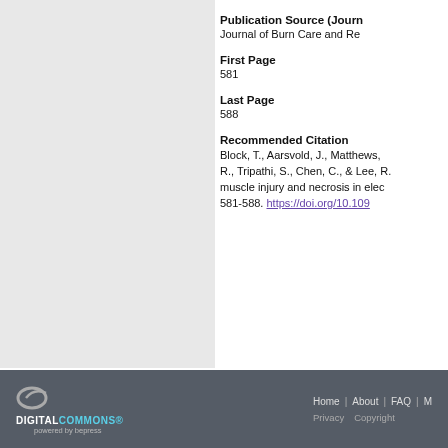Publication Source (Journal)
Journal of Burn Care and Re
First Page
581
Last Page
588
Recommended Citation
Block, T., Aarsvold, J., Matthews, R., Tripathi, S., Chen, C., & Lee, R. muscle injury and necrosis in elec 581-588. https://doi.org/10.109
DIGITAL COMMONS powered by bepress | Home | About | FAQ | M | Privacy | Copyright